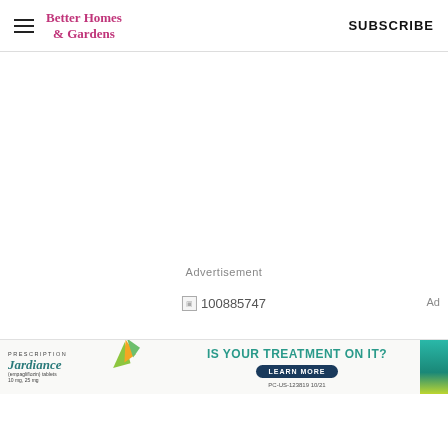Better Homes & Gardens  SUBSCRIBE
Advertisement
[Figure (other): Broken image placeholder showing '100885747']
[Figure (other): Jardiance prescription drug advertisement banner. Text: PRESCRIPTION, Jardiance (empagliflozin) tablets, IS YOUR TREATMENT ON IT?, LEARN MORE, PC-US-123819 10/21]